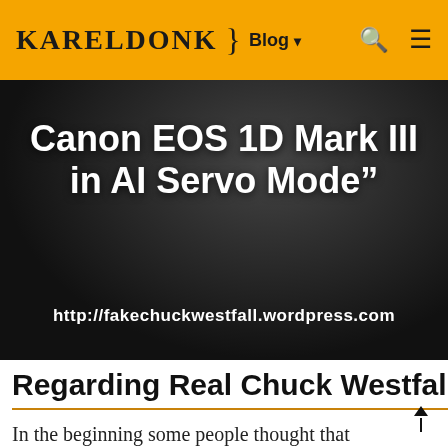KARELDONK } Blog ▾
[Figure (screenshot): Dark hero image with white bold text reading 'Canon EOS 1D Mark III in AI Servo Mode"' and URL http://fakechuckwestfall.wordpress.com]
Regarding Real Chuck Westfall
In the beginning some people thought that